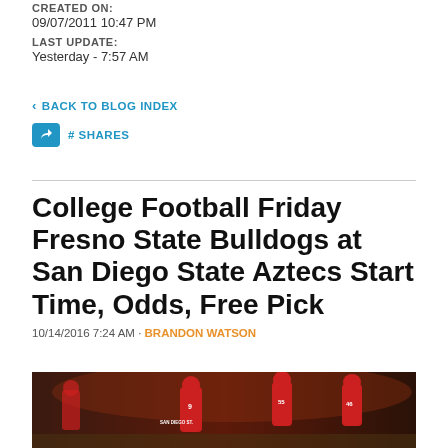CREATED ON:
09/07/2011 10:47 PM
LAST UPDATE:
Yesterday - 7:57 AM
< BACK TO BLOG INDEX
# SHARES
College Football Friday Fresno State Bulldogs at San Diego State Aztecs Start Time, Odds, Free Pick
10/14/2016 7:24 AM · BRANDON WATSON
[Figure (photo): Football players in red and white uniforms running on a field at night, San Diego State Aztecs game]